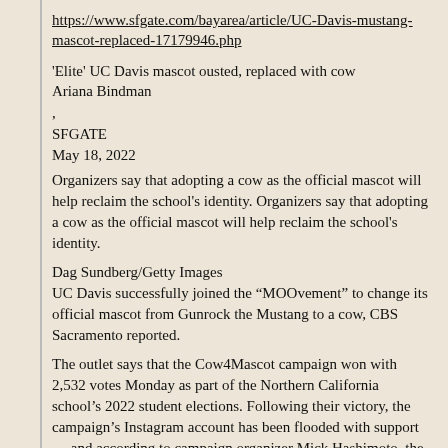https://www.sfgate.com/bayarea/article/UC-Davis-mustang-mascot-replaced-17179946.php
'Elite' UC Davis mascot ousted, replaced with cow
Ariana Bindman
,
SFGATE
May 18, 2022
Organizers say that adopting a cow as the official mascot will help reclaim the school's identity. Organizers say that adopting a cow as the official mascot will help reclaim the school's identity.
Dag Sundberg/Getty Images
UC Davis successfully joined the “MOOvement” to change its official mascot from Gunrock the Mustang to a cow, CBS Sacramento reported.
The outlet says that the Cow4Mascot campaign won with 2,532 votes Monday as part of the Northern California school’s 2022 student elections. Following their victory, the campaign’s Instagram account has been flooded with support — and according to campaign organizer Mick Hashimoto, the new, long-overdue mascot will better represent the spirit of the